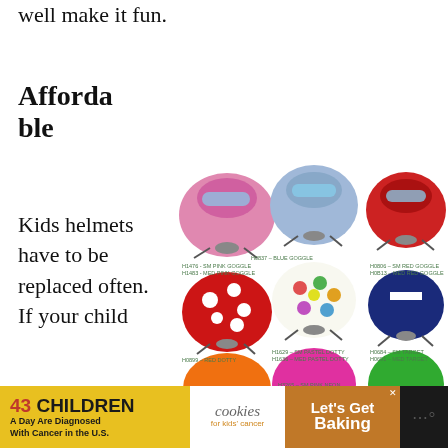well make it fun.
Affordable
Kids helmets have to be replaced often.  If your child
[Figure (photo): Nine colorful kids helmets arranged in three rows: row 1 has pink goggle helmet, blue goggle helmet, red goggle helmet; row 2 has red dotty helmet, pastel dotty helmet, navy target helmet; row 3 has orange helmet, pink neon helmet, green helmet. Each helmet has product code labels in green text below.]
H1476 - SM PINK GOGGLE
H1483 - MED PINK GOGGLE
H0837 - BLUE GOGGLE
H0806 - SM RED GOGGLE
H0B13 - MED RED GOGGLE
H0899 - RED DOTTY
H1629 - SM PASTEL DOTTY
H1636 - MED PASTEL DOTTY
H0684 - SM TARGET
H0691 - MED TARGET
H3265 - SM PINK NEON
43 CHILDREN A Day Are Diagnosed With Cancer in the U.S. | cookies for kids' cancer | Let's Get Baking